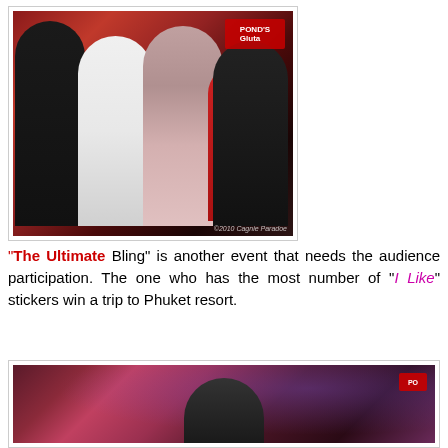[Figure (photo): Photo of several young women at an event with a red backdrop. One woman holds a microphone. A watermark reads '©2010 Cagnie Paradoe'. A red logo/brand label is visible in the top right corner.]
"The Ultimate Bling" is another event that needs the audience participation. The one who has the most number of "I Like" stickers win a trip to Phuket resort.
[Figure (photo): Partial photo of a person at an event with a dark reddish-purple backdrop and a red brand logo visible in the upper right.]